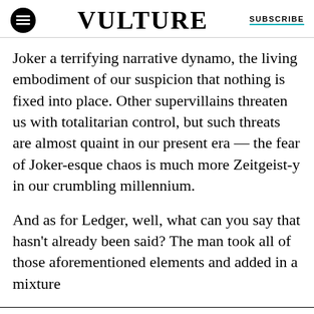VULTURE | SUBSCRIBE
Joker a terrifying narrative dynamo, the living embodiment of our suspicion that nothing is fixed into place. Other supervillains threaten us with totalitarian control, but such threats are almost quaint in our present era — the fear of Joker-esque chaos is much more Zeitgeist-y in our crumbling millennium.
And as for Ledger, well, what can you say that hasn't already been said? The man took all of those aforementioned elements and added in a mixture
This story is free for a limited time. Subscribe to enjoy uninterrupted access. START YOUR TRIAL TODAY.